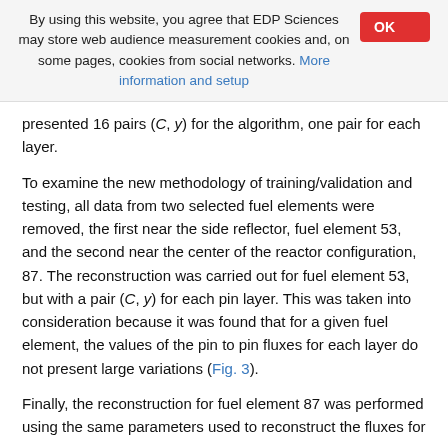By using this website, you agree that EDP Sciences may store web audience measurement cookies and, on some pages, cookies from social networks. More information and setup
presented 16 pairs (C, y) for the algorithm, one pair for each layer.
To examine the new methodology of training/validation and testing, all data from two selected fuel elements were removed, the first near the side reflector, fuel element 53, and the second near the center of the reactor configuration, 87. The reconstruction was carried out for fuel element 53, but with a pair (C, y) for each pin layer. This was taken into consideration because it was found that for a given fuel element, the values of the pin to pin fluxes for each layer do not present large variations (Fig. 3).
Finally, the reconstruction for fuel element 87 was performed using the same parameters used to reconstruct the fluxes for